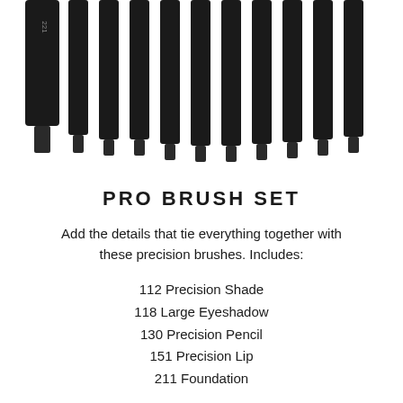[Figure (photo): Row of professional makeup brushes with black handles, shown from above, handles arranged side by side. The leftmost brush is labeled '221'.]
PRO BRUSH SET
Add the details that tie everything together with these precision brushes. Includes:
112 Precision Shade
118 Large Eyeshadow
130 Precision Pencil
151 Precision Lip
211 Foundation